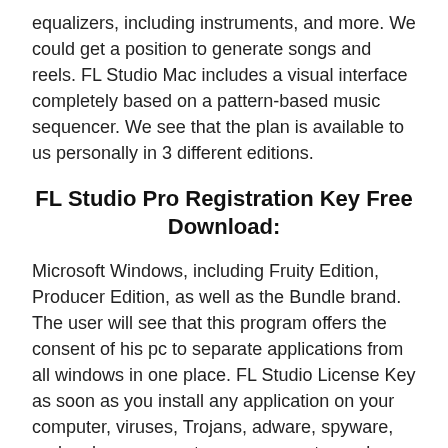equalizers, including instruments, and more. We could get a position to generate songs and reels. FL Studio Mac includes a visual interface completely based on a pattern-based music sequencer. We see that the plan is available to us personally in 3 different editions.
FL Studio Pro Registration Key Free Download:
Microsoft Windows, including Fruity Edition, Producer Edition, as well as the Bundle brand. The user will see that this program offers the consent of his pc to separate applications from all windows in one place. FL Studio License Key as soon as you install any application on your computer, viruses, Trojans, adware, spyware, and malware can enter your computer and someone can gain access to a profile and personal information.
However, to recover, you...